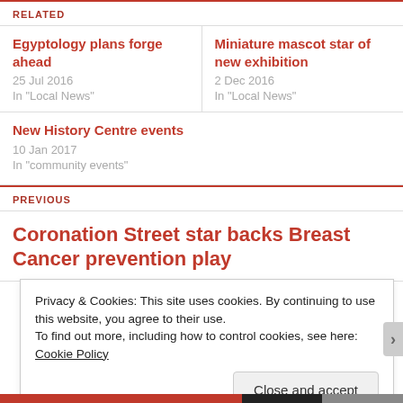RELATED
Egyptology plans forge ahead
25 Jul 2016
In "Local News"
Miniature mascot star of new exhibition
2 Dec 2016
In "Local News"
New History Centre events
10 Jan 2017
In "community events"
PREVIOUS
Coronation Street star backs Breast Cancer prevention play
Privacy & Cookies: This site uses cookies. By continuing to use this website, you agree to their use.
To find out more, including how to control cookies, see here: Cookie Policy
Close and accept